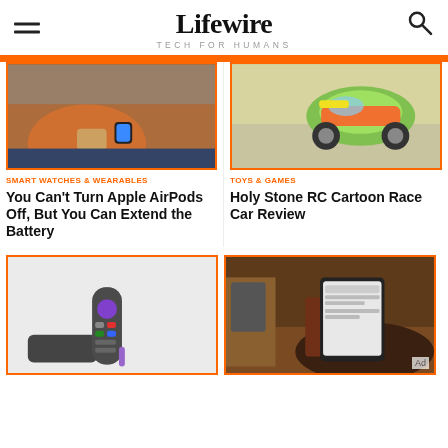Lifewire — TECH FOR HUMANS
[Figure (photo): Person using Apple Watch / AirPods, sitting on bed in orange sweater]
[Figure (photo): Holy Stone RC cartoon race car toy on carpet, green and yellow]
SMART WATCHES & WEARABLES
You Can't Turn Apple AirPods Off, But You Can Extend the Battery
TOYS & GAMES
Holy Stone RC Cartoon Race Car Review
[Figure (photo): Roku streaming device and remote control on white background]
[Figure (photo): Person sitting in chair holding a tablet device, reading]